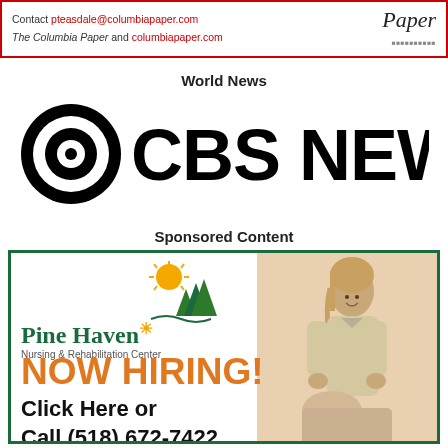[Figure (logo): Columbia Paper advertisement banner with contact info: pteasdale@columbiapaper.com, The Columbia Paper and columbiapaper.com, with 'Paper' logo on right side. Red border.]
World News
[Figure (logo): CBS News logo: eye symbol followed by CBS NEWS in large bold black text]
Sponsored Content
[Figure (illustration): Pine Haven Nursing & Rehabilitation Center advertisement. Green border. Logo with pine trees and sun. NOW HIRING! in orange. Click Here or Call (518) 672-7422. Photo of nurse with elderly patient.]